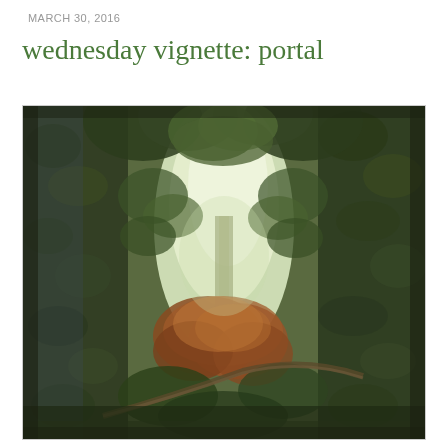MARCH 30, 2016
wednesday vignette: portal
[Figure (photo): A nature photograph looking through a narrow gap between stone walls or trees, with green foliage canopy overhead including large leafy trees, bright daylight sky visible in the center, and reddish-orange autumn-colored shrubs in the lower middle ground. The scene is framed as a portal or gateway view through dense vegetation.]